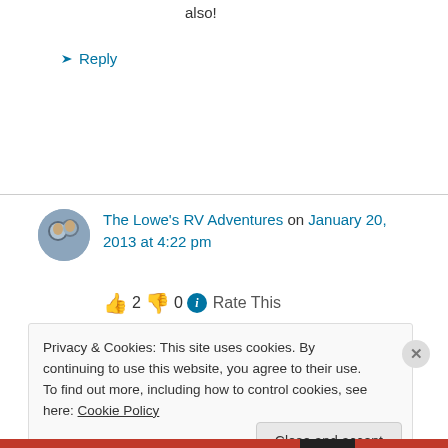also!
↳ Reply
The Lowe's RV Adventures on January 20, 2013 at 4:22 pm
👍 2 👎 0 ℹ Rate This
Privacy & Cookies: This site uses cookies. By continuing to use this website, you agree to their use.
To find out more, including how to control cookies, see here: Cookie Policy
Close and accept